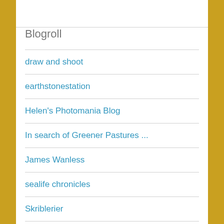Blogroll
draw and shoot
earthstonestation
Helen's Photomania Blog
In search of Greener Pastures ...
James Wanless
sealife chronicles
Skriblerier